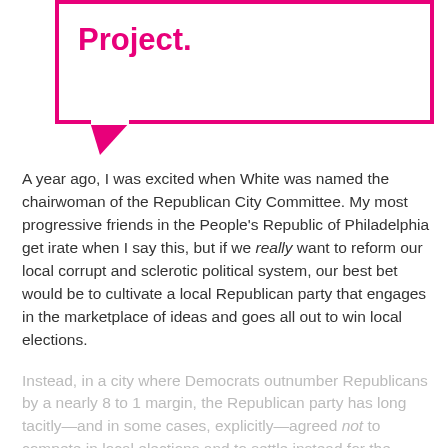[Figure (other): Speech bubble with pink border containing the word 'Project.' in pink bold text]
A year ago, I was excited when White was named the chairwoman of the Republican City Committee. My most progressive friends in the People's Republic of Philadelphia get irate when I say this, but if we really want to reform our local corrupt and sclerotic political system, our best bet would be to cultivate a local Republican party that engages in the marketplace of ideas and goes all out to win local elections.
Instead, in a city where Democrats outnumber Republicans by a nearly 8 to 1 margin, the Republican party has long tacitly—and in some cases, explicitly—agreed not to compete in local elections and to settle instead for the crumbs of patronage.